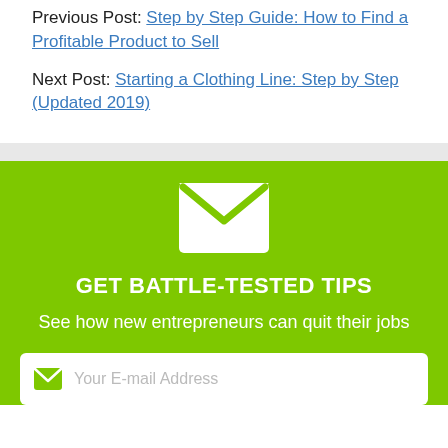Previous Post: Step by Step Guide: How to Find a Profitable Product to Sell
Next Post: Starting a Clothing Line: Step by Step (Updated 2019)
[Figure (illustration): White envelope icon with green chevron/V shape on green background]
GET BATTLE-TESTED TIPS
See how new entrepreneurs can quit their jobs
Your E-mail Address